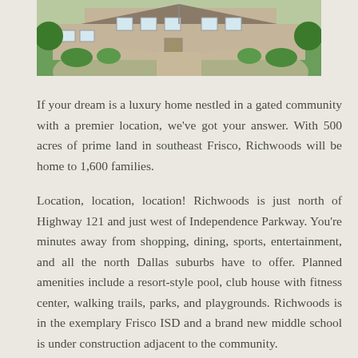[Figure (photo): Exterior photo of a luxury home with brick facade, manicured landscaping, curved driveway, and green lawn]
If your dream is a luxury home nestled in a gated community with a premier location, we've got your answer. With 500 acres of prime land in southeast Frisco, Richwoods will be home to 1,600 families.
Location, location, location! Richwoods is just north of Highway 121 and just west of Independence Parkway. You're minutes away from shopping, dining, sports, entertainment, and all the north Dallas suburbs have to offer. Planned amenities include a resort-style pool, club house with fitness center, walking trails, parks, and playgrounds. Richwoods is in the exemplary Frisco ISD and a brand new middle school is under construction adjacent to the community.